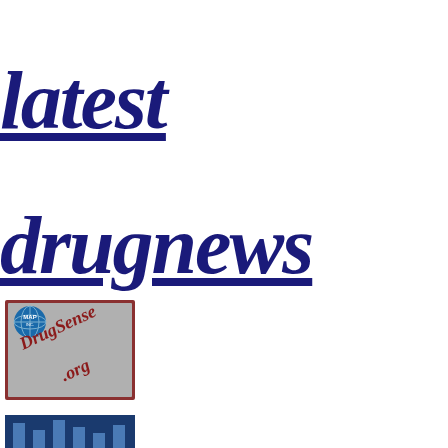latest
drugnews
[Figure (logo): DrugSense.org logo with MAP INC globe icon and diagonal red text 'DrugSense .org' on grey background with dark red border]
[Figure (logo): Partial blue banner logo at bottom of page, partially cut off]